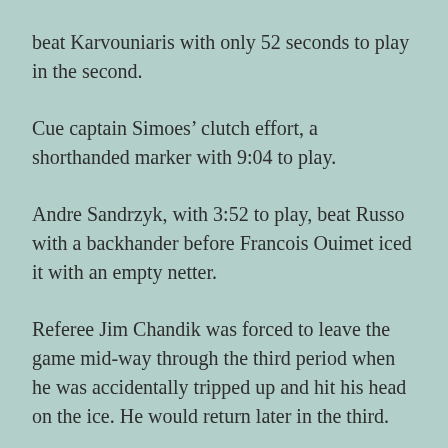beat Karvouniaris with only 52 seconds to play in the second.
Cue captain Simoes’ clutch effort, a shorthanded marker with 9:04 to play.
Andre Sandrzyk, with 3:52 to play, beat Russo with a backhander before Francois Ouimet iced it with an empty netter.
Referee Jim Chandik was forced to leave the game mid-way through the third period when he was accidentally tripped up and hit his head on the ice. He would return later in the third.
Sandrzyk (second) and Simoes were the other stars. Sorel outshot Cornwall 30-23.